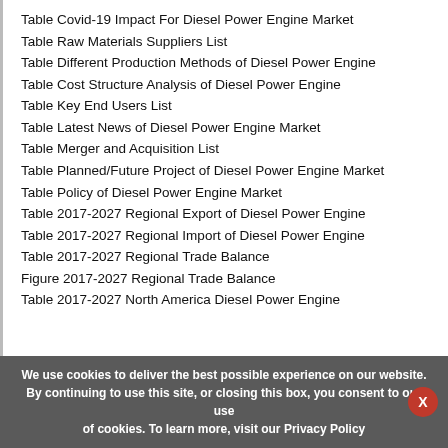Table Covid-19 Impact For Diesel Power Engine Market
Table Raw Materials Suppliers List
Table Different Production Methods of Diesel Power Engine
Table Cost Structure Analysis of Diesel Power Engine
Table Key End Users List
Table Latest News of Diesel Power Engine Market
Table Merger and Acquisition List
Table Planned/Future Project of Diesel Power Engine Market
Table Policy of Diesel Power Engine Market
Table 2017-2027 Regional Export of Diesel Power Engine
Table 2017-2027 Regional Import of Diesel Power Engine
Table 2017-2027 Regional Trade Balance
Figure 2017-2027 Regional Trade Balance
Table 2017-2027 North America Diesel Power Engine
We use cookies to deliver the best possible experience on our website. By continuing to use this site, or closing this box, you consent to our use of cookies. To learn more, visit our Privacy Policy